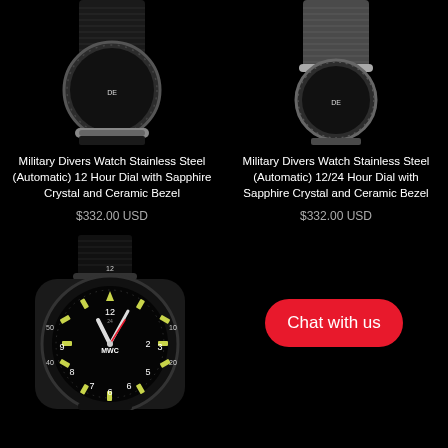[Figure (photo): Military Divers Watch with black nylon strap, stainless steel case, partial top view on black background]
Military Divers Watch Stainless Steel (Automatic) 12 Hour Dial with Sapphire Crystal and Ceramic Bezel
$332.00 USD
[Figure (photo): Military Divers Watch with grey/silver nylon strap, stainless steel case, partial top view on black background]
Military Divers Watch Stainless Steel (Automatic) 12/24 Hour Dial with Sapphire Crystal and Ceramic Bezel
$332.00 USD
[Figure (photo): MWC Military watch with black case and black nylon strap, luminous yellow-green markers, 12/24 hour dial, full front view]
Chat with us